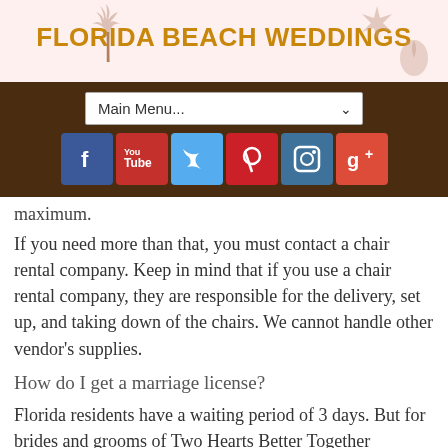[Figure (logo): Florida Beach Weddings site header with palm tree, starfish, shell decorations and orange title text on pink background]
[Figure (screenshot): Navigation bar with dark brown background, Main Menu dropdown selector, and social media icons: Facebook, YouTube, Twitter, Pinterest, Instagram, Google+]
maximum.
If you need more than that, you must contact a chair rental company. Keep in mind that if you use a chair rental company, they are responsible for the delivery, set up, and taking down of the chairs. We cannot handle other vendor's supplies.
How do I get a marriage license?
Florida residents have a waiting period of 3 days. But for brides and grooms of Two Hearts Better Together Weddings that live outside of Florida, the state has simplified the process by eliminating the waiting period. Out-of-state residents can obtain a license the same day – they just have t